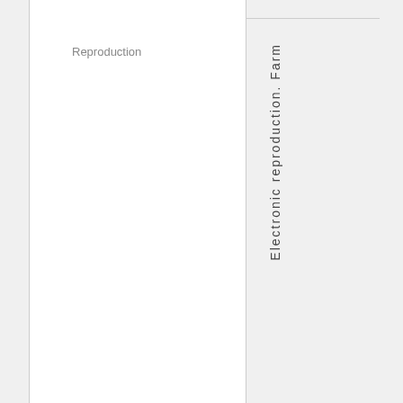| Reproduction |  |
| --- | --- |
| Reproduction | Electronic reproduction. Farm... |